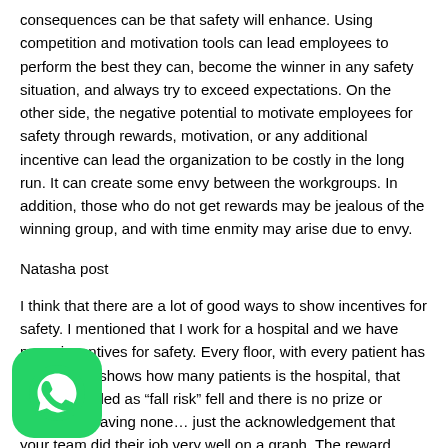consequences can be that safety will enhance. Using competition and motivation tools can lead employees to perform the best they can, become the winner in any safety situation, and always try to exceed expectations. On the other side, the negative potential to motivate employees for safety through rewards, motivation, or any additional incentive can lead the organization to be costly in the long run. It can create some envy between the workgroups. In addition, those who do not get rewards may be jealous of the winning group, and with time enmity may arise due to envy.
Natasha post
I think that there are a lot of good ways to show incentives for safety. I mentioned that I work for a hospital and we have many incentives for safety. Every floor, with every patient has a chart that shows how many patients is the hospital, that weren't labeled as “fall risk” fell and there is no prize or reward for having none… just the acknowledgement that your team did their job very well on a graph. The reward for/from this is knowing that you (as a team, , person) watched over everyone and made sure that you our job. Job satisfaction is an award in of itself.
We hope they now and if you can see this arising